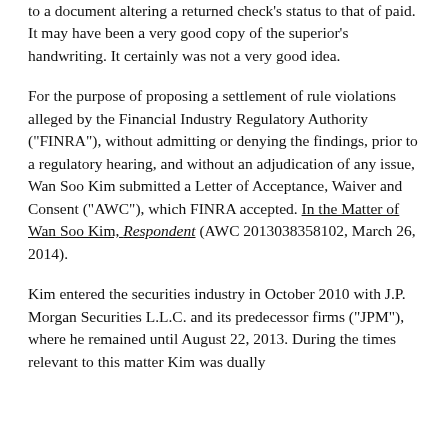to a document altering a returned check's status to that of paid.  It may have been a very good copy of the superior's handwriting. It certainly was not a very good idea.
For the purpose of proposing a settlement of rule violations alleged by the Financial Industry Regulatory Authority ("FINRA"), without admitting or denying the findings, prior to a regulatory hearing, and without an adjudication of any issue, Wan Soo Kim submitted a Letter of Acceptance, Waiver and Consent ("AWC"), which FINRA accepted. In the Matter of Wan Soo Kim, Respondent (AWC 2013038358102, March 26, 2014).
Kim entered the securities industry in October 2010 with J.P. Morgan Securities L.L.C. and its predecessor firms ("JPM"), where he remained until August 22, 2013. During the times relevant to this matter Kim was dually registered as an Investment Company Products/Variable contracts representative...